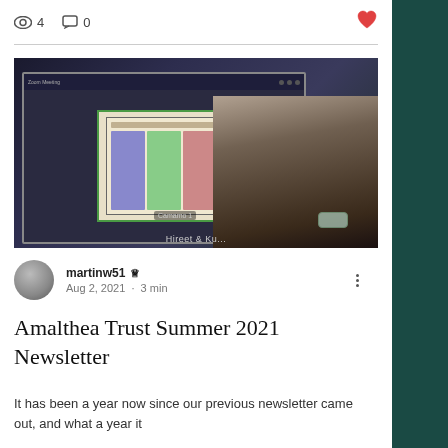👁 4   💬 0   ♥
[Figure (photo): Screenshot of a video conference call showing a person holding up a device/tablet with a screen displaying charts, and other participants visible in the background wearing masks.]
martinw51 ♛ Admin
Aug 2, 2021 · 3 min
Amalthea Trust Summer 2021 Newsletter
It has been a year now since our previous newsletter came out, and what a year it